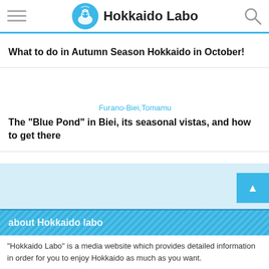Hokkaido Labo
What to do in Autumn Season Hokkaido in October!
Furano-Biei,Tomamu
The "Blue Pond" in Biei, its seasonal vistas, and how to get there
[Figure (illustration): Light blue placeholder area for an image]
about Hokkaido labo
"Hokkaido Labo" is a media website which provides detailed information in order for you to enjoy Hokkaido as much as you want.